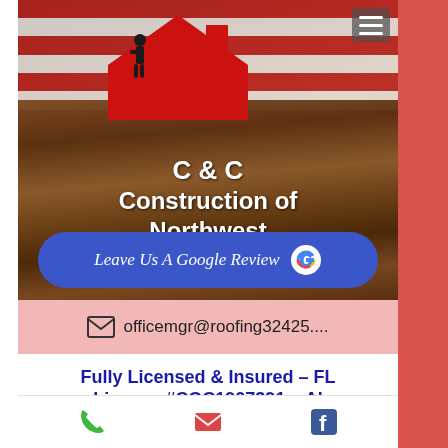[Figure (screenshot): Mobile website screenshot of C & C Construction of Northwest Florida, LLC featuring a hero image with wood texture background, American flag elements, red house roof logo with worker silhouette, company name in white bold text, a blue Google Review button, and contact info bar]
C & C Construction of Northwest Florida, LLC
Leave Us A Google Review
officemgr@roofing32425....
Fully Licensed & Insured – FL License #CGC1907891 – Al